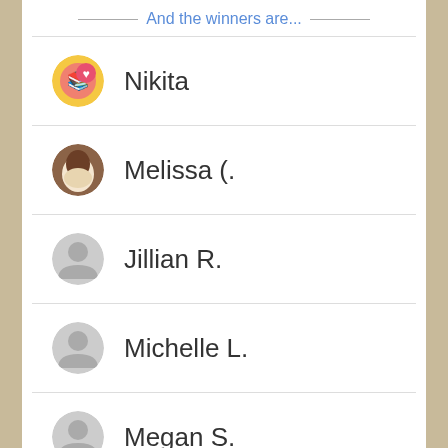And the winners are...
Nikita
Melissa (.
Jillian R.
Michelle L.
Megan S.